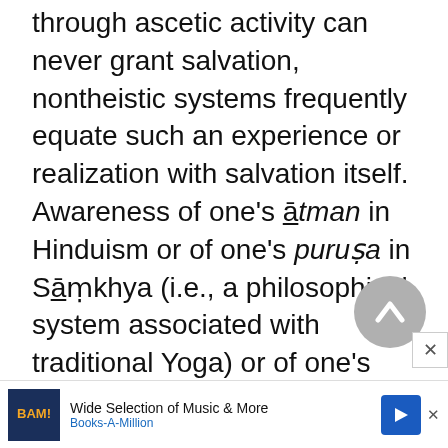through ascetic activity can never grant salvation, nontheistic systems frequently equate such an experience or realization with salvation itself. Awareness of one's ātman in Hinduism or of one's puruṣa in Sāṃkhya (i.e., a philosophical system associated with traditional Yoga) or of one's Buddha nature in Zen is enlightenment or salvation. Unlike the theistic religions, nontheistic systems frequently affirm tha[t...] ear[...]
[Figure (other): Gray circular back/up navigation button with chevron arrow pointing upward]
[Figure (other): Advertisement banner for Books-A-Million (BAM!) promoting Wide Selection of Music & More]